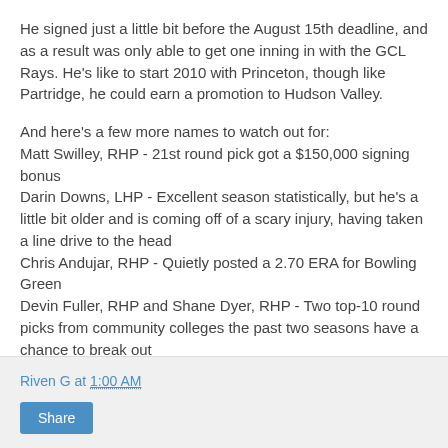He signed just a little bit before the August 15th deadline, and as a result was only able to get one inning in with the GCL Rays. He's like to start 2010 with Princeton, though like Partridge, he could earn a promotion to Hudson Valley.
And here's a few more names to watch out for:
Matt Swilley, RHP - 21st round pick got a $150,000 signing bonus
Darin Downs, LHP - Excellent season statistically, but he's a little bit older and is coming off of a scary injury, having taken a line drive to the head
Chris Andujar, RHP - Quietly posted a 2.70 ERA for Bowling Green
Devin Fuller, RHP and Shane Dyer, RHP - Two top-10 round picks from community colleges the past two seasons have a chance to break out
Riven G at 1:00 AM
Share